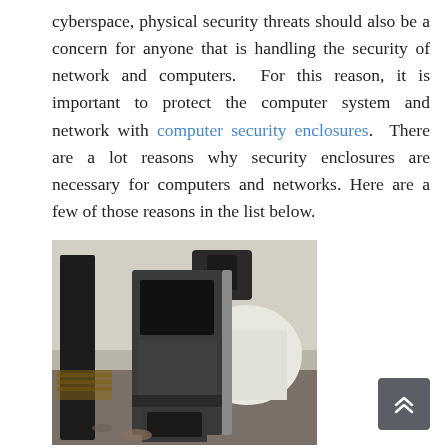cyberspace, physical security threats should also be a concern for anyone that is handling the security of network and computers. For this reason, it is important to protect the computer system and network with computer security enclosures. There are a lot reasons why security enclosures are necessary for computers and networks. Here are a few of those reasons in the list below.
[Figure (photo): A computer security enclosure kiosk-style unit with a dark metal casing and a screen, photographed in a warehouse or workshop setting with other equipment in the background.]